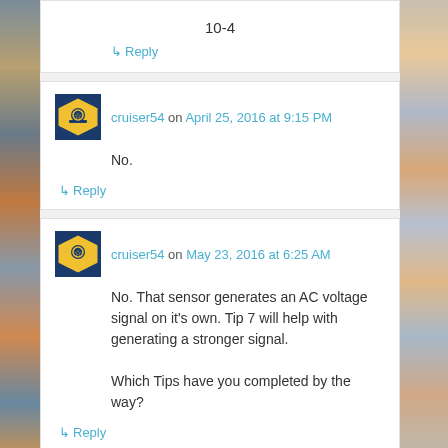10-4
↳ Reply
cruiser54 on April 25, 2016 at 9:15 PM
No.
↳ Reply
cruiser54 on May 23, 2016 at 6:25 AM
No. That sensor generates an AC voltage signal on it's own. Tip 7 will help with generating a stronger signal.

Which Tips have you completed by the way?
↳ Reply